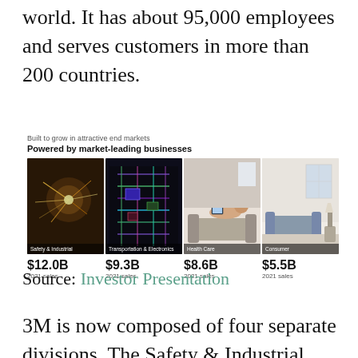world. It has about 95,000 employees and serves customers in more than 200 countries.
[Figure (infographic): Infographic showing 3M's four business divisions with photos and 2021 sales figures. Title: 'Built to grow in attractive end markets / Powered by market-leading businesses'. Four segments: Safety & Industrial $12.0B, Transportation & Electronics $9.3B, Health Care $8.6B, Consumer $5.5B.]
Source: Investor Presentation
3M is now composed of four separate divisions. The Safety & Industrial